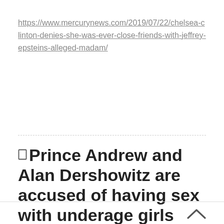https://www.mercurynews.com/2019/07/22/chelsea-clinton-denies-she-was-ever-close-friends-with-jeffrey-epsteins-alleged-madam/
Prince Andrew and Alan Dershowitz are accused of having sex with underage girls